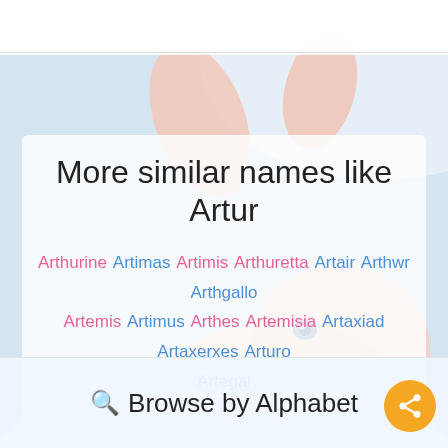[Figure (photo): Baby lying on white surface with soft pastel background, pink outfit visible]
More similar names like Artur
Arthurine Artimas Artimis Arthuretta Artair Arthwr Arthgallo Artemis Artimus Arthes Artemisia Artaxiad Artaxerxes Arturo Artegal
Browse by Alphabet